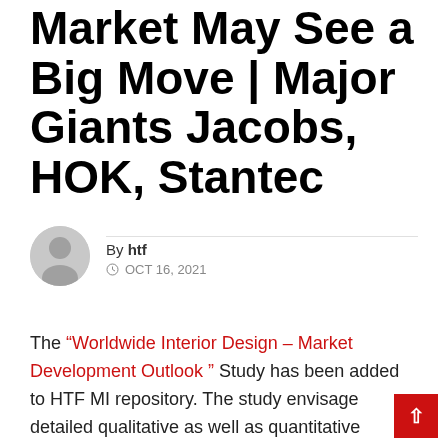Market May See a Big Move | Major Giants Jacobs, HOK, Stantec
By htf
OCT 16, 2021
The “Worldwide Interior Design – Market Development Outlook “ Study has been added to HTF MI repository. The study envisage detailed qualitative as well as quantitative market data insights and follows Industry